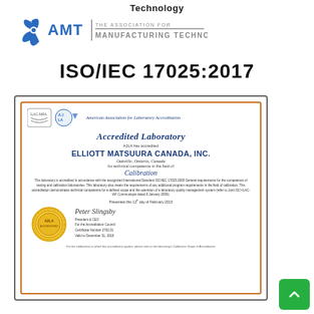Technology
[Figure (logo): AMT - The Association for Manufacturing Technology logo with blue gear/fan icon and gray horizontal bar]
ISO/IEC 17025:2017
[Figure (photo): Accredited Laboratory certificate from A2LA (American Association for Laboratory Accreditation) for Elliott Matsuura Canada, Inc., Oakville, Ontario, Canada, in the field of Calibration, with gold seal and signature, Certificate Number 2702.01, Valid to December 31, 2018]